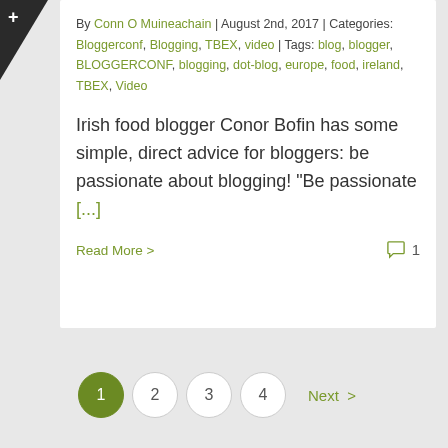By Conn O Muineachain | August 2nd, 2017 | Categories: Bloggerconf, Blogging, TBEX, video | Tags: blog, blogger, BLOGGERCONF, blogging, dot-blog, europe, food, ireland, TBEX, Video
Irish food blogger Conor Bofin has some simple, direct advice for bloggers: be passionate about blogging! "Be passionate [...]
Read More >
1